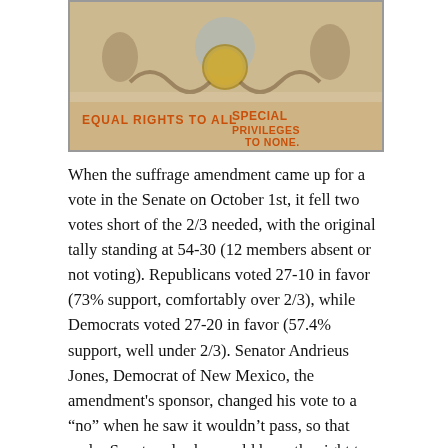[Figure (illustration): Historical illustration/poster with figures and text reading 'EQUAL RIGHTS TO ALL' on the left and 'SPECIAL PRIVILEGES TO NONE.' on the right, in orange/brown lettering on a decorative background.]
When the suffrage amendment came up for a vote in the Senate on October 1st, it fell two votes short of the 2/3 needed, with the original tally standing at 54-30 (12 members absent or not voting). Republicans voted 27-10 in favor (73% support, comfortably over 2/3), while Democrats voted 27-20 in favor (57.4% support, well under 2/3). Senator Andrieus Jones, Democrat of New Mexico, the amendment's sponsor, changed his vote to a “no” when he saw it wouldn’t pass, so that under Senate rules he would have the right to bring it up